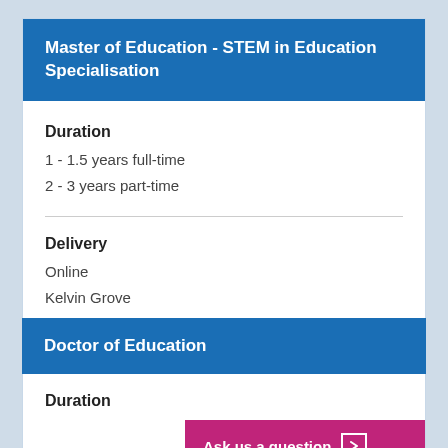Master of Education - STEM in Education Specialisation
Duration
1 - 1.5 years full-time
2 - 3 years part-time
Delivery
Online
Kelvin Grove
Doctor of Education
Duration
Ask us a question